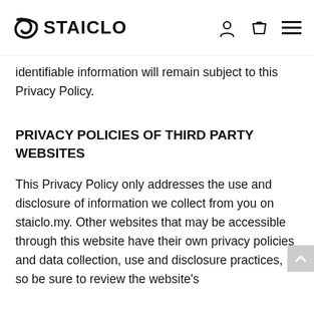STAICLO
identifiable information will remain subject to this Privacy Policy.
PRIVACY POLICIES OF THIRD PARTY WEBSITES
This Privacy Policy only addresses the use and disclosure of information we collect from you on staiclo.my. Other websites that may be accessible through this website have their own privacy policies and data collection, use and disclosure practices, so be sure to review the website's